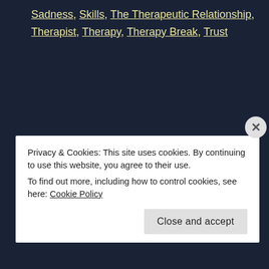Sadness, Skills, The Therapeutic Relationship, Therapist, Therapy, Therapy Break, Trust
Being My Own
Privacy & Cookies: This site uses cookies. By continuing to use this website, you agree to their use.
To find out more, including how to control cookies, see here: Cookie Policy
Close and accept